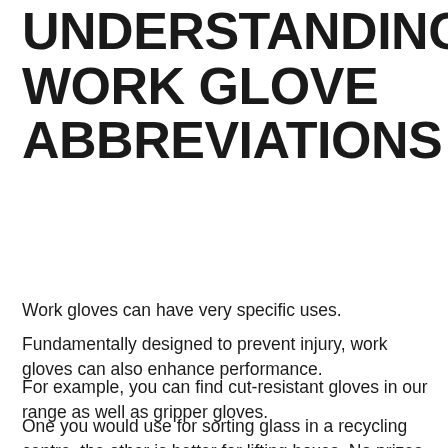UNDERSTANDING WORK GLOVE ABBREVIATIONS
Work gloves can have very specific uses.
Fundamentally designed to prevent injury, work gloves can also enhance performance.
For example, you can find cut-resistant gloves in our range as well as gripper gloves.
One you would use for sorting glass in a recycling centre, the other is better for lifting boxes. No prizes for guessing which!
But when it comes to choosing between two cut-resistant gloves with the same cut level, it's not